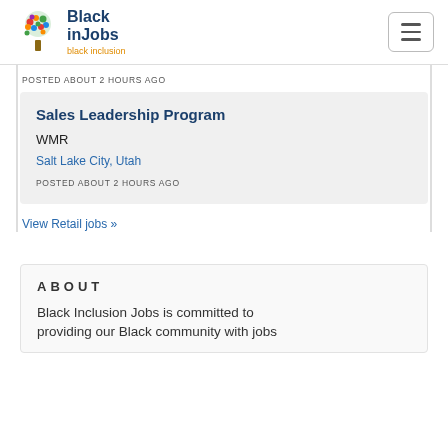[Figure (logo): Black inJobs logo with colorful tree and text 'Black inJobs' and 'black inclusion']
POSTED ABOUT 2 HOURS AGO
Sales Leadership Program
WMR
Salt Lake City, Utah
POSTED ABOUT 2 HOURS AGO
View Retail jobs »
ABOUT
Black Inclusion Jobs is committed to providing our Black community with jobs